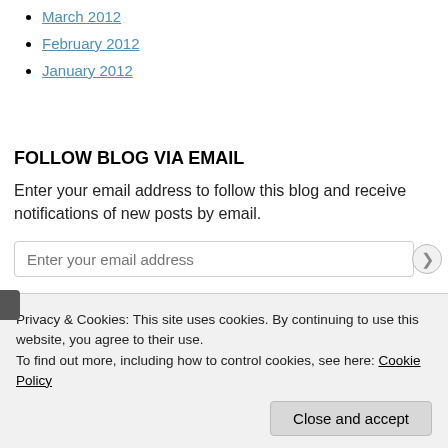March 2012
February 2012
January 2012
FOLLOW BLOG VIA EMAIL
Enter your email address to follow this blog and receive notifications of new posts by email.
Enter your email address (input field)
Follow (button)
Privacy & Cookies: This site uses cookies. By continuing to use this website, you agree to their use. To find out more, including how to control cookies, see here: Cookie Policy
Close and accept (button)